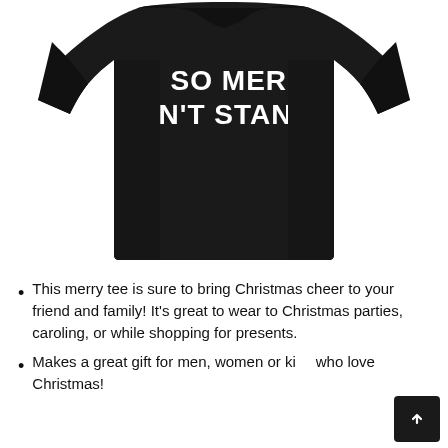[Figure (photo): Black t-shirt with white bold text reading I'M SO MERRY I CAN'T STAND IT, shown on a model from neck to waist against a white background.]
This merry tee is sure to bring Christmas cheer to your friend and family! It's great to wear to Christmas parties, caroling, or while shopping for presents.
Makes a great gift for men, women or kids who love Christmas!